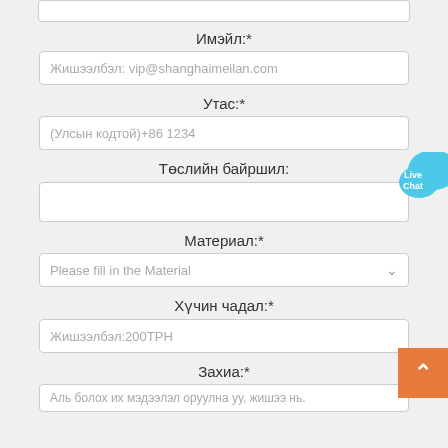Имэйл:*
Жишээлбэл: vip@shanghaimeilan.com
Утас:*
(Улсын кодтой)+86 1234
Төслийн байршил:
Материал:*
Please fill in the Material
Хүчин чадал:*
Жишээлбэл:200ТРН
Захиа:*
Аль болох их мэдээлэл оруулна уу, жишээ нь.